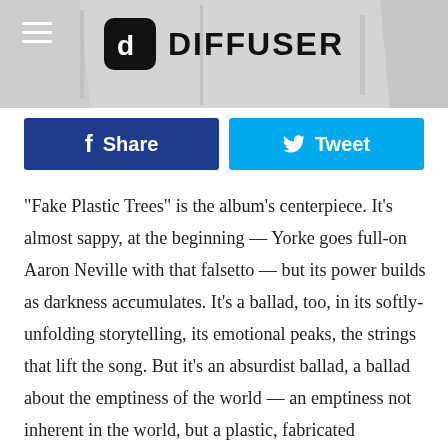DIFFUSER
[Figure (screenshot): Share and Tweet buttons bar — dark blue Facebook Share button and cyan Twitter Tweet button]
“Fake Plastic Trees” is the album’s centerpiece. It’s almost sappy, at the beginning — Yorke goes full-on Aaron Neville with that falsetto — but its power builds as darkness accumulates. It’s a ballad, too, in its softly-unfolding storytelling, its emotional peaks, the strings that lift the song. But it’s an absurdist ballad, a ballad about the emptiness of the world — an emptiness not inherent in the world, but a plastic, fabricated emptiness. (One thinks of the album’s dedication, to late comedian Bill Hicks.) Yorke’s disgust and existential worry finally find their worthiest target. Even in its finale it exudes a dread of the hollow and the empty. The chills, perhaps only implied, run all the deeper